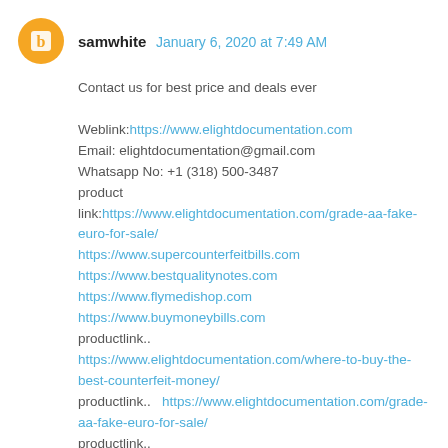samwhite  January 6, 2020 at 7:49 AM
Contact us for best price and deals ever

Weblink:https://www.elightdocumentation.com
Email: elightdocumentation@gmail.com
Whatsapp No: +1 (318) 500-3487
product     link:https://www.elightdocumentation.com/grade-aa-fake-euro-for-sale/
https://www.supercounterfeitbills.com
https://www.bestqualitynotes.com
https://www.flymedishop.com
https://www.buymoneybills.com
productlink..    https://www.elightdocumentation.com/where-to-buy-the-best-counterfeit-money/
productlink..   https://www.elightdocumentation.com/grade-aa-fake-euro-for-sale/
productlink..       https://www.elightdocumentation.com/buy-counterfeit-mexican-peso-online/
productlink.. https://www.elightdocumentation.com/the-best-counterfeit-money-sale/